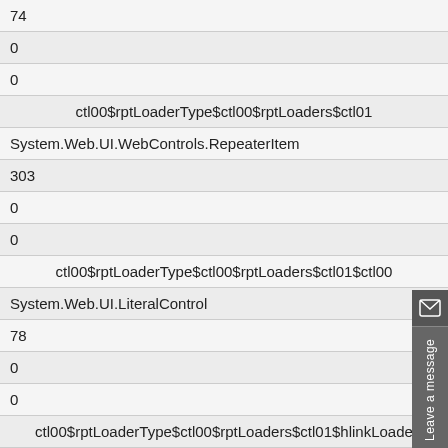| 74 |
| 0 |
| 0 |
| ctl00$rptLoaderType$ctl00$rptLoaders$ctl01 |
| System.Web.UI.WebControls.RepeaterItem |
| 303 |
| 0 |
| 0 |
| ctl00$rptLoaderType$ctl00$rptLoaders$ctl01$ctl00 |
| System.Web.UI.LiteralControl |
| 78 |
| 0 |
| 0 |
| ctl00$rptLoaderType$ctl00$rptLoaders$ctl01$hlinkLoade |
| System.Web.UI.WebControls.HyperLink |
| 151 |